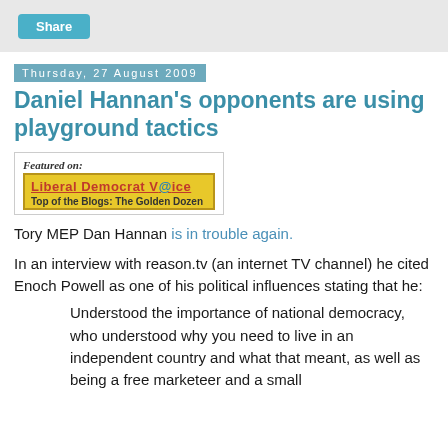Share
Thursday, 27 August 2009
Daniel Hannan's opponents are using playground tactics
[Figure (other): Featured on: Liberal Democrat Voice - Top of the Blogs: The Golden Dozen badge/banner image]
Tory MEP Dan Hannan is in trouble again.
In an interview with reason.tv (an internet TV channel) he cited Enoch Powell as one of his political influences stating that he:
Understood the importance of national democracy, who understood why you need to live in an independent country and what that meant, as well as being a free marketeer and a small